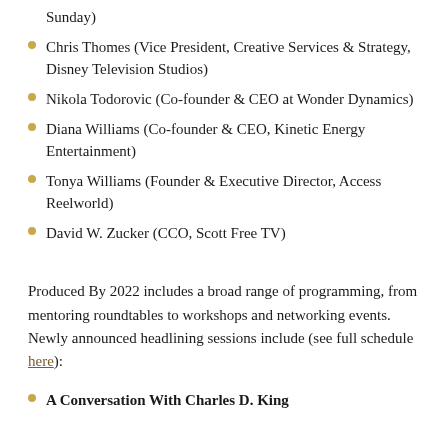Sunday)
Chris Thomes (Vice President, Creative Services & Strategy, Disney Television Studios)
Nikola Todorovic (Co-founder & CEO at Wonder Dynamics)
Diana Williams (Co-founder & CEO, Kinetic Energy Entertainment)
Tonya Williams (Founder & Executive Director, Access Reelworld)
David W. Zucker (CCO, Scott Free TV)
Produced By 2022 includes a broad range of programming, from mentoring roundtables to workshops and networking events. Newly announced headlining sessions include (see full schedule here):
A Conversation With Charles D. King